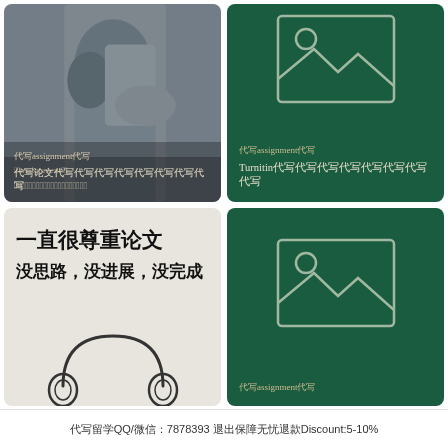[Figure (photo): Photo of a person bent over, appearing stressed or in distress, with overlay text about assignment]
代写assignment代写
代写论文代写代写代写代写代写代写代写代写代写
[Figure (illustration): Green background with image placeholder icon and text about assignment and Turnitin]
代写assignment代写
Turnitin代写代写代写代写代写代写代写代写
[Figure (photo): Photo with Chinese text: 一直很尊重论文, 没思路，没进展，没完成, and a sketch of headphones]
[Figure (illustration): Green background with image placeholder icon and text about assignment]
代写assignment代写
代写留学QQ/微信：7878393 退出保障无忧退款Discount:5-10%